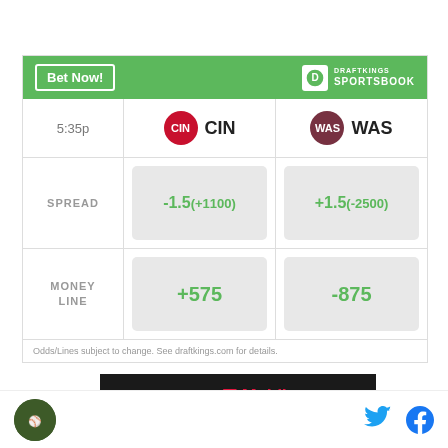[Figure (infographic): DraftKings Sportsbook betting widget showing CIN vs WAS game at 5:35p. Spread: CIN -1.5 (+1100), WAS +1.5 (-2500). Money Line: CIN +575, WAS -875.]
AD PRESENTED BY T-Mobile
[Figure (logo): Site logo (circular green icon) on the left, Twitter bird icon and Facebook 'f' icon on the right]